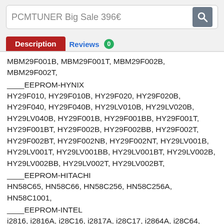PCMTUNER Big Sale 396€
Description   Reviews 0
MBM29F001B, MBM29F001T, MBM29F002B, MBM29F002T,
____EEPROM-HYNIX
HY29F010, HY29F010B, HY29F020, HY29F020B, HY29F040, HY29F040B, HY29LV010B, HY29LV020B, HY29LV040B, HY29F001B, HY29F001BB, HY29F001T, HY29F001BT, HY29F002B, HY29F002BB, HY29F002T, HY29F002BT, HY29F002NB, HY29F002NT, HY29LV001B, HY29LV001T, HY29LV001BB, HY29LV001BT, HY29LV002B, HY29LV002BB, HY29LV002T, HY29LV002BT,
____EEPROM-HITACHI
HN58C65, HN58C66, HN58C256, HN58C256A, HN58C1001,
____EEPROM-INTEL
i2816, i2816A, i28C16, i2817A, i28C17, i2864A, i28C64,